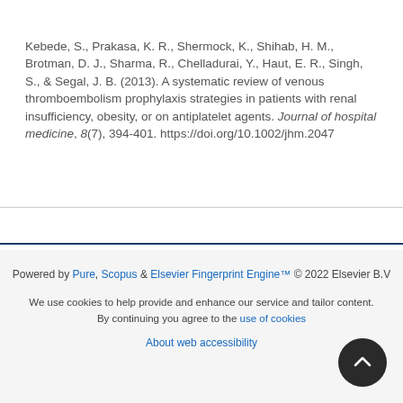Kebede, S., Prakasa, K. R., Shermock, K., Shihab, H. M., Brotman, D. J., Sharma, R., Chelladurai, Y., Haut, E. R., Singh, S., & Segal, J. B. (2013). A systematic review of venous thromboembolism prophylaxis strategies in patients with renal insufficiency, obesity, or on antiplatelet agents. Journal of hospital medicine, 8(7), 394-401. https://doi.org/10.1002/jhm.2047
Powered by Pure, Scopus & Elsevier Fingerprint Engine™ © 2022 Elsevier B.V
We use cookies to help provide and enhance our service and tailor content. By continuing you agree to the use of cookies
About web accessibility